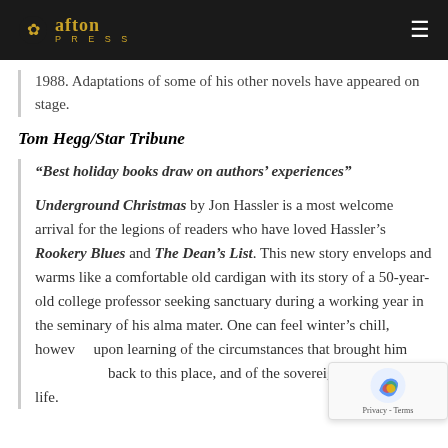afton PRESS
1988. Adaptations of some of his other novels have appeared on stage.
Tom Hegg/Star Tribune
“Best holiday books draw on authors’ experiences”
Underground Christmas by Jon Hassler is a most welcome arrival for the legions of readers who have loved Hassler’s Rookery Blues and The Dean’s List. This new story envelops and warms like a comfortable old cardigan with its story of a 50-year-old college professor seeking sanctuary during a working year in the seminary of his alma mater. One can feel winter’s chill, however, upon learning of the circumstances that brought him back to this place, and of the sovereign wound in his life.